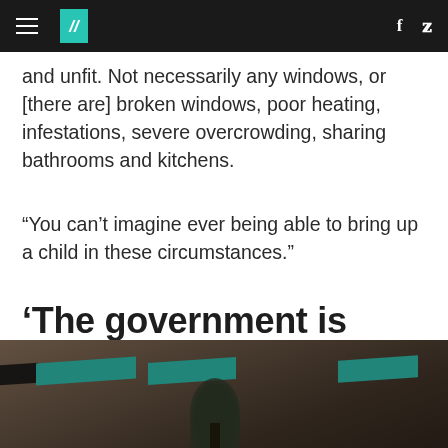HuffPost header with hamburger menu, logo, and social icons (Facebook, Twitter)
and unfit. Not necessarily any windows, or [there are] broken windows, poor heating, infestations, severe overcrowding, sharing bathrooms and kitchens.
“You can’t imagine ever being able to bring up a child in these circumstances.”
‘The government is ignoring this crisis’
[Figure (photo): Street-level photograph of a building facade with teal/turquoise awnings and brick architecture, dimly lit]